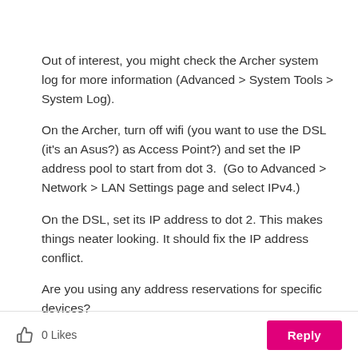Out of interest, you might check the Archer system log for more information (Advanced > System Tools > System Log).
On the Archer, turn off wifi (you want to use the DSL (it's an Asus?) as Access Point?) and set the IP address pool to start from dot 3.  (Go to Advanced > Network > LAN Settings page and select IPv4.)
On the DSL, set its IP address to dot 2. This makes things neater looking. It should fix the IP address conflict.
Are you using any address reservations for specific devices?
0 Likes   Reply